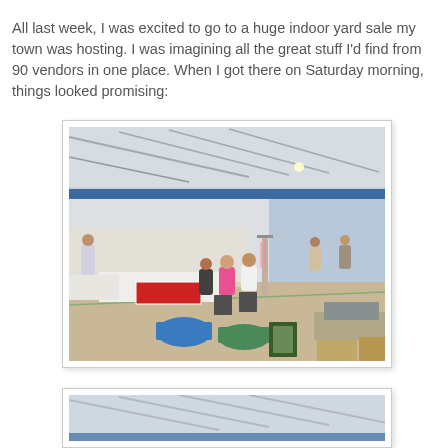All last week, I was excited to go to a huge indoor yard sale my town was hosting.  I was imagining all the great stuff I'd find from 90 vendors in one place.  When I got there on Saturday morning, things looked promising:
[Figure (photo): Indoor gymnasium used as a large yard sale venue with many vendor tables, people browsing merchandise, blue tubs, boxes, and items spread across the gym floor.]
[Figure (photo): Partial view of another photo showing the indoor venue, partially visible at the bottom of the page.]